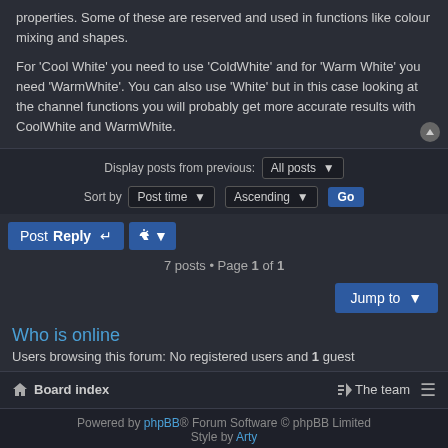properties. Some of these are reserved and used in functions like colour mixing and shapes.
For 'Cool White' you need to use 'ColdWhite' and for 'Warm White' you need 'WarmWhite'. You can also use 'White' but in this case looking at the channel functions you will probably get more accurate results with CoolWhite and WarmWhite.
Display posts from previous: All posts ▾
Sort by  Post time ▾  Ascending ▾  Go
Post Reply  🔧 ▾
7 posts • Page 1 of 1
Jump to  ▾
Who is online
Users browsing this forum: No registered users and 1 guest
Board index  The team  ≡
Powered by phpBB® Forum Software © phpBB Limited  Style by Arty